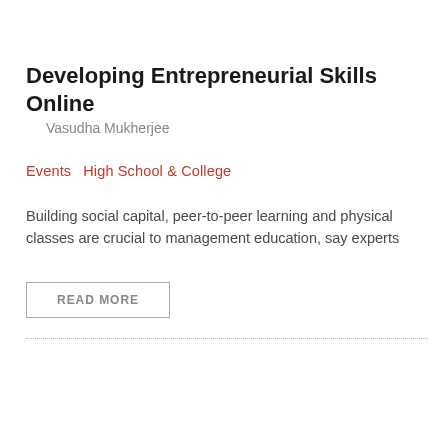Developing Entrepreneurial Skills Online
Vasudha Mukherjee
Events  High School & College
Building social capital, peer-to-peer learning and physical classes are crucial to management education, say experts
READ MORE